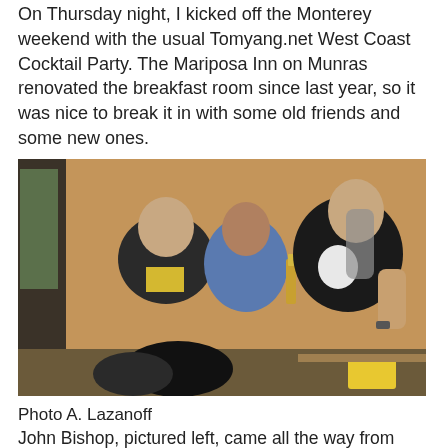On Thursday night, I kicked off the Monterey weekend with the usual Tomyang.net West Coast Cocktail Party. The Mariposa Inn on Munras renovated the breakfast room since last year, so it was nice to break it in with some old friends and some new ones.
[Figure (photo): Three men standing together indoors at a cocktail party, one holding a beer bottle. They are in front of a tan/orange wall. The man on the far right wears a black vest over a white shirt, the man in the middle wears a blue shirt, and the man on the left wears a dark jacket with a yellow shirt underneath.]
Photo A. Lazanoff
John Bishop, pictured left, came all the way from Melbourne Australia. He brought samples of parts he had reproduced for the 365GTC/4. He has remade the round trim pieces on the seat backs that break so easily, along with billet aluminum speaker grilles to replace the flimsy